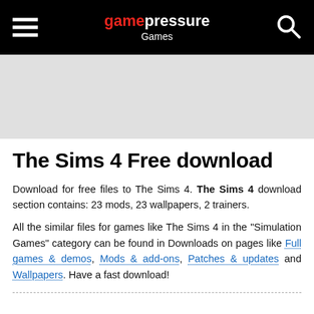gamepressure Games
The Sims 4 Free download
Download for free files to The Sims 4. The Sims 4 download section contains: 23 mods, 23 wallpapers, 2 trainers.
All the similar files for games like The Sims 4 in the "Simulation Games" category can be found in Downloads on pages like Full games & demos, Mods & add-ons, Patches & updates and Wallpapers. Have a fast download!